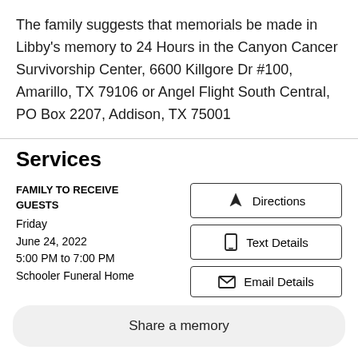The family suggests that memorials be made in Libby's memory to 24 Hours in the Canyon Cancer Survivorship Center, 6600 Killgore Dr #100, Amarillo, TX 79106 or Angel Flight South Central, PO Box 2207, Addison, TX 75001
Services
FAMILY TO RECEIVE GUESTS
Friday
June 24, 2022
5:00 PM to 7:00 PM
Schooler Funeral Home
Directions
Text Details
Email Details
Share a memory